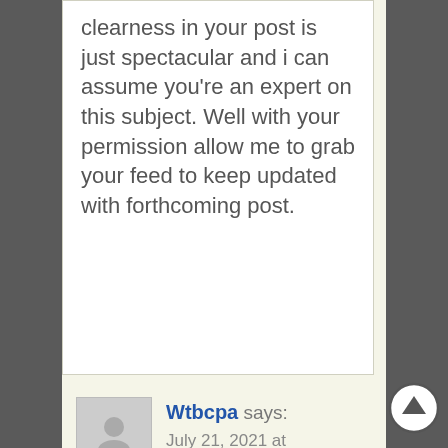clearness in your post is just spectacular and i can assume you're an expert on this subject. Well with your permission allow me to grab your feed to keep updated with forthcoming post.
Wtbcpa says: July 21, 2021 at 11:41 pm
viagra price in india online